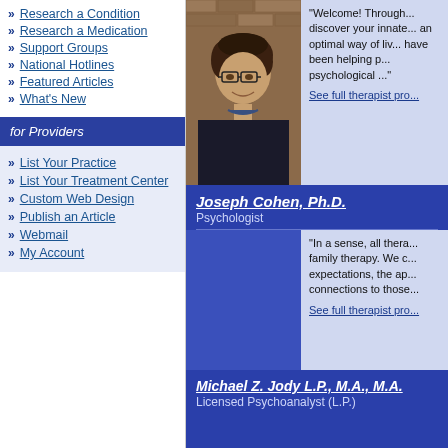Research a Condition
Research a Medication
Support Groups
National Hotlines
Featured Articles
What's New
for Providers
List Your Practice
List Your Treatment Center
Custom Web Design
Publish an Article
Webmail
My Account
[Figure (photo): Photo of a female therapist with short dark hair and glasses, smiling, wearing a dark top, brick wall background]
"Welcome! Through... discover your innate... an optimal way of liv... have been helping p... psychological ..."
See full therapist pro...
Joseph Cohen, Ph.D.
Psychologist
"In a sense, all thera... family therapy. We c... expectations, the ap... connections to those...
See full therapist pro...
Michael Z. Jody L.P., M.A., M.A.
Licensed Psychoanalyst (L.P.)